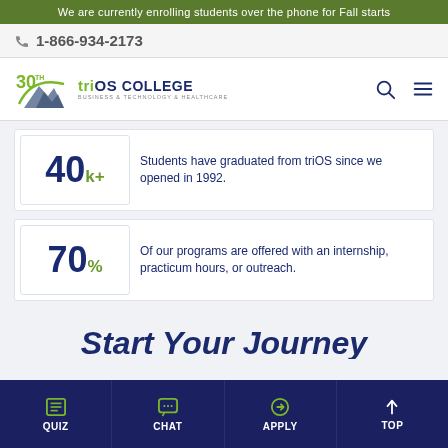We are currently enrolling students over the phone for Fall starts
1-866-934-2173
[Figure (logo): triOS College 30th anniversary logo with mountain graphic]
40k+ Students have graduated from triOS since we opened in 1992.
70% Of our programs are offered with an internship, practicum hours, or outreach.
Start Your Journey
QUIZ  CHAT  APPLY  TOP